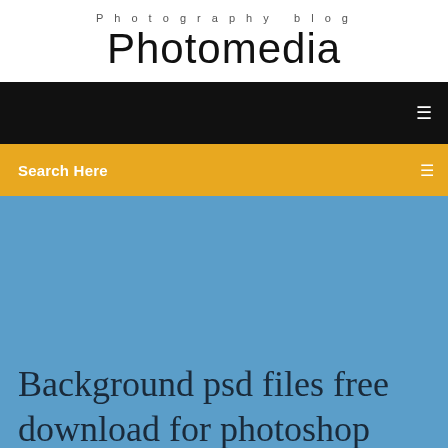Photography blog
Photomedia
[Figure (screenshot): Black navigation bar with a white menu icon on the right]
Search Here
Background psd files free download for photoshop